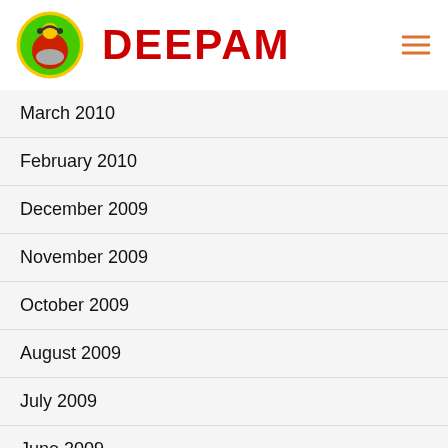DEEPAM
March 2010
February 2010
December 2009
November 2009
October 2009
August 2009
July 2009
June 2009